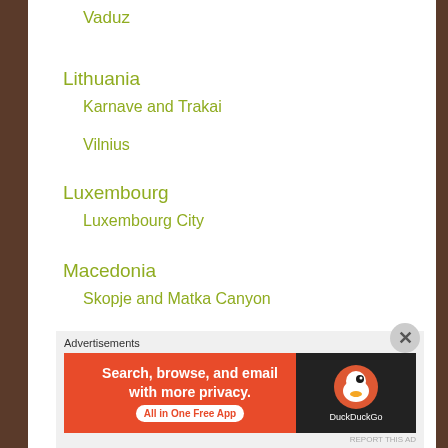Vaduz
Lithuania
Karnave and Trakai
Vilnius
Luxembourg
Luxembourg City
Macedonia
Skopje and Matka Canyon
Monaco
Advertisements
[Figure (other): DuckDuckGo advertisement banner: Search, browse, and email with more privacy. All in One Free App]